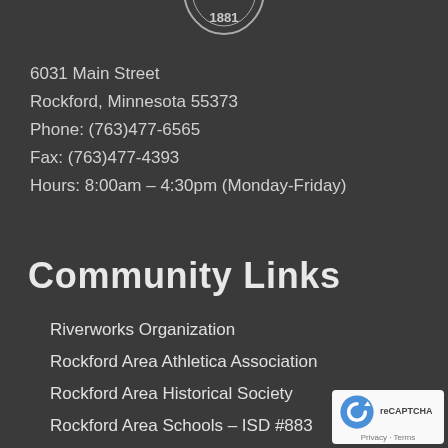[Figure (logo): Partial circular logo/seal with text '1881' visible at top of page]
6031 Main Street
Rockford, Minnesota 55373
Phone: (763)477-6565
Fax: (763)477-4393
Hours: 8:00am – 4:30pm (Monday-Friday)
Community Links
Riverworks Organization
Rockford Area Athletica Association
Rockford Area Historical Society
Rockford Area Schools – ISD #883
Rockford Chamber of Commerce
Rockford Community Calendar
[Figure (logo): reCAPTCHA badge with Privacy and Terms links]